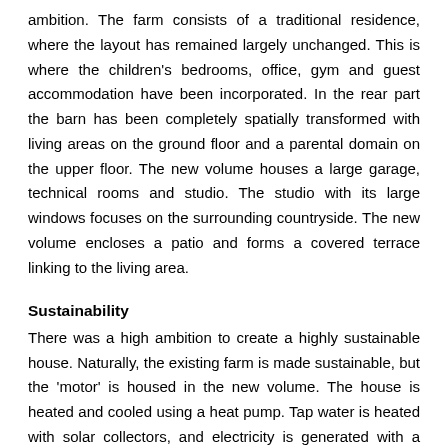ambition. The farm consists of a traditional residence, where the layout has remained largely unchanged. This is where the children's bedrooms, office, gym and guest accommodation have been incorporated. In the rear part the barn has been completely spatially transformed with living areas on the ground floor and a parental domain on the upper floor. The new volume houses a large garage, technical rooms and studio. The studio with its large windows focuses on the surrounding countryside. The new volume encloses a patio and forms a covered terrace linking to the living area.
Sustainability
There was a high ambition to create a highly sustainable house. Naturally, the existing farm is made sustainable, but the 'motor' is housed in the new volume. The house is heated and cooled using a heat pump. Tap water is heated with solar collectors, and electricity is generated with a large amount of PV cells in order to achieve a CO2-neutral solution. The new roof shape got a perfect angle in relation to the sun. In addition, the PV cells and collectors are recessed into the roof of the new volume so that they are not visible